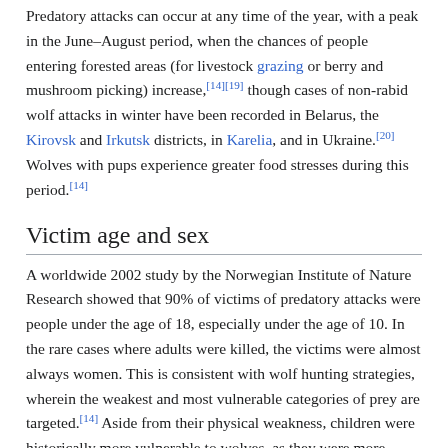Predatory attacks can occur at any time of the year, with a peak in the June–August period, when the chances of people entering forested areas (for livestock grazing or berry and mushroom picking) increase,[14][19] though cases of non-rabid wolf attacks in winter have been recorded in Belarus, the Kirovsk and Irkutsk districts, in Karelia, and in Ukraine.[20] Wolves with pups experience greater food stresses during this period.[14]
Victim age and sex
A worldwide 2002 study by the Norwegian Institute of Nature Research showed that 90% of victims of predatory attacks were people under the age of 18, especially under the age of 10. In the rare cases where adults were killed, the victims were almost always women. This is consistent with wolf hunting strategies, wherein the weakest and most vulnerable categories of prey are targeted.[14] Aside from their physical weakness, children were historically more vulnerable to wolves, as they were more likely to enter forests unattended